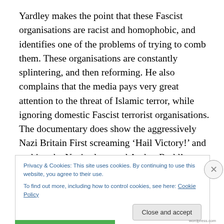Yardley makes the point that these Fascist organisations are racist and homophobic, and identifies one of the problems of trying to comb them. These organisations are constantly splintering, and then reforming. He also complains that the media pays very great attention to the threat of Islamic terror, while ignoring domestic Fascist terrorist organisations. The documentary does show the aggressively Nazi Britain First screaming ‘Hail Victory!’ and making the Nazi salute, and Amber Rudd’s speech
Privacy & Cookies: This site uses cookies. By continuing to use this website, you agree to their use.
To find out more, including how to control cookies, see here: Cookie Policy